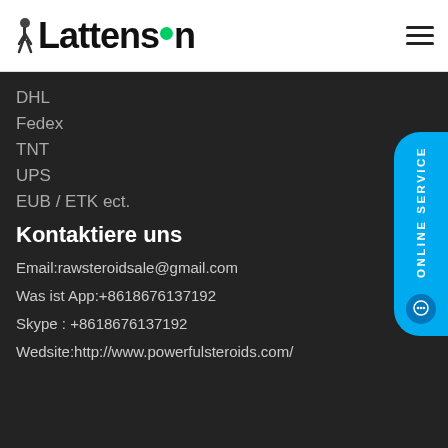Lattenson
DHL
Fedex
TNT
UPS
EUB / ETK ect.
Kontaktiere uns
Email:rawsteroidsale@gmail.com
Was ist App:+8618676137192
Skype : +8618676137192
Wedsite:http://www.powerfulsteroids.com/